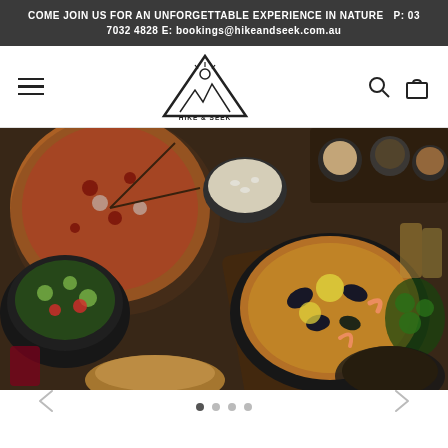COME JOIN US FOR AN UNFORGETTABLE EXPERIENCE IN NATURE  P: 03 7032 4828 E: bookings@hikeandseek.com.au
[Figure (logo): Hike & Seek triangle logo with mountain/sun design and text HIKE & SEEK]
[Figure (photo): Overhead aerial view of a large spread of food on a wooden table, including pizza, paella, salads, bread, drinks and various dishes in cast iron pots and pans]